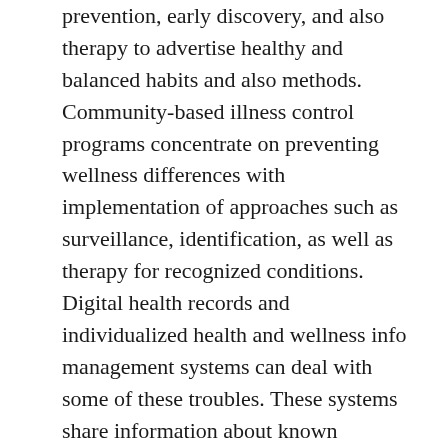prevention, early discovery, and also therapy to advertise healthy and balanced habits and also methods. Community-based illness control programs concentrate on preventing wellness differences with implementation of approaches such as surveillance, identification, as well as therapy for recognized conditions. Digital health records and individualized health and wellness info management systems can deal with some of these troubles. These systems share information about known conditions and assist in the recognition of new disease threats and also methods for avoidance and also the control of illness.
The goal of preventive health and wellness promotion is to recognize and lower the event